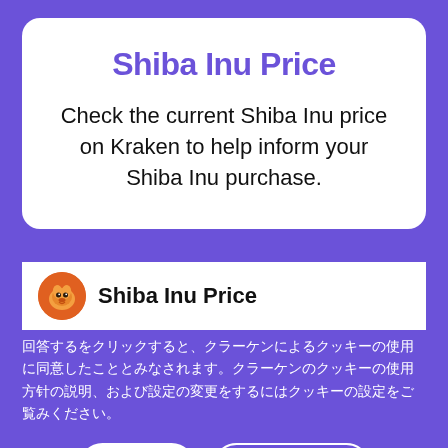Shiba Inu Price
Check the current Shiba Inu price on Kraken to help inform your Shiba Inu purchase.
Shiba Inu Price
同意するをクリックすると、クラーケンによるクッキーの使用に同意したこととみなされます。クラーケンのクッキーの使用方針の説明、および設定の変更をするにはクッキーの設定をご覧ください。
同意する
クッキーの設定